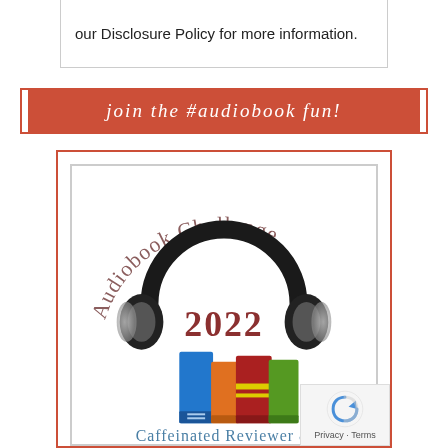our Disclosure Policy for more information.
join the #audiobook fun!
[Figure (illustration): Audiobook Challenge 2022 badge showing large black headphones over a stack of colorful books (blue, orange, red, green) with arched text 'Audiobook Challenge' above and '2022' in the center, and 'Caffeinated Reviewer &' at the bottom]
Caffeinated Reviewer &